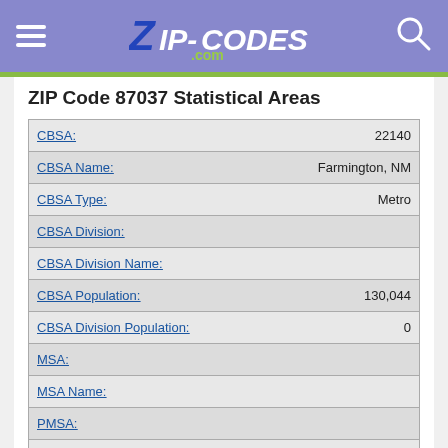ZIP-CODES.com
ZIP Code 87037 Statistical Areas
| Field | Value |
| --- | --- |
| CBSA: | 22140 |
| CBSA Name: | Farmington, NM |
| CBSA Type: | Metro |
| CBSA Division: |  |
| CBSA Division Name: |  |
| CBSA Population: | 130,044 |
| CBSA Division Population: | 0 |
| MSA: |  |
| MSA Name: |  |
| PMSA: |  |
| PMSA Name: |  |